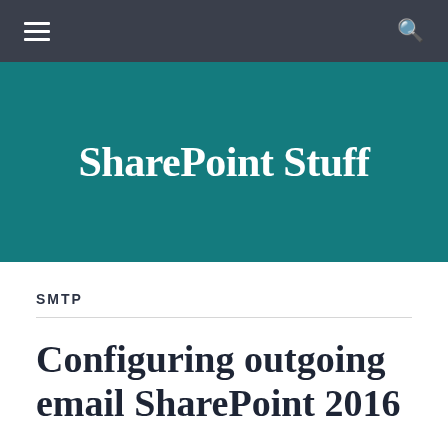SharePoint Stuff — navigation bar
SharePoint Stuff
SMTP
Configuring outgoing email SharePoint 2016